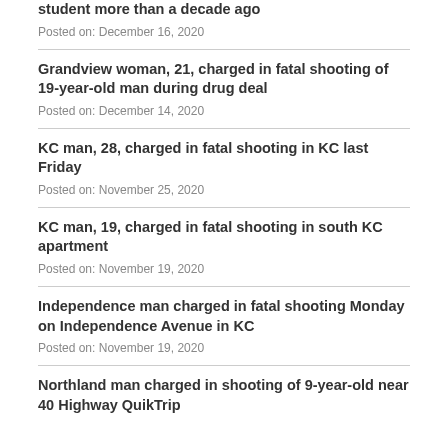student more than a decade ago
Posted on: December 16, 2020
Grandview woman, 21, charged in fatal shooting of 19-year-old man during drug deal
Posted on: December 14, 2020
KC man, 28, charged in fatal shooting in KC last Friday
Posted on: November 25, 2020
KC man, 19, charged in fatal shooting in south KC apartment
Posted on: November 19, 2020
Independence man charged in fatal shooting Monday on Independence Avenue in KC
Posted on: November 19, 2020
Northland man charged in shooting of 9-year-old near 40 Highway QuikTrip